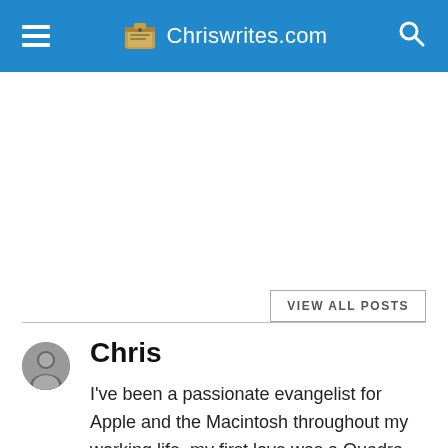Chriswrites.com
VIEW ALL POSTS
Chris
I've been a passionate evangelist for Apple and the Macintosh throughout my working life, my first love was a Quadra 605 working with a small